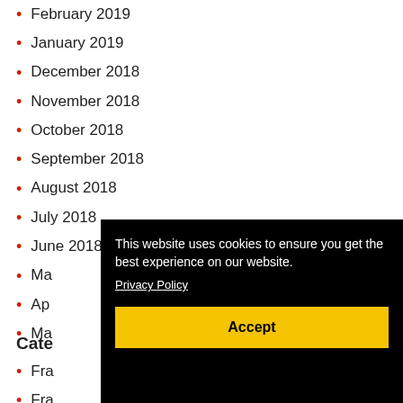February 2019
January 2019
December 2018
November 2018
October 2018
September 2018
August 2018
July 2018
June 2018
Ma[y 2018]
Ap[ril 2018]
Ma[rch 2018]
Cate[gories]
Fra[nchise]
Fra[nchise]
[Figure (screenshot): Cookie consent overlay with black background, text 'This website uses cookies to ensure you get the best experience on our website.' with Privacy Policy link, and yellow Accept button.]